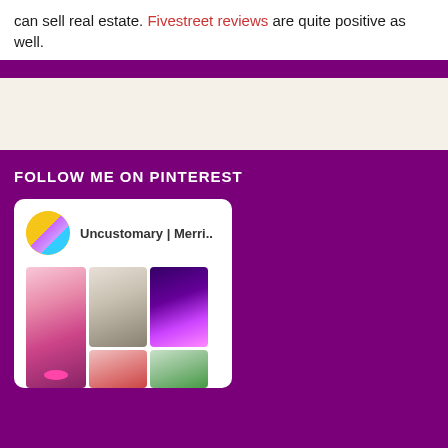can sell real estate. Fivestreet reviews are quite positive as well.
FOLLOW ME ON PINTEREST
[Figure (screenshot): Pinterest widget showing profile 'Uncustomary | Merri..' with a yellow avatar and a grid of photos including makeup, beach, and neon-lit scenes]